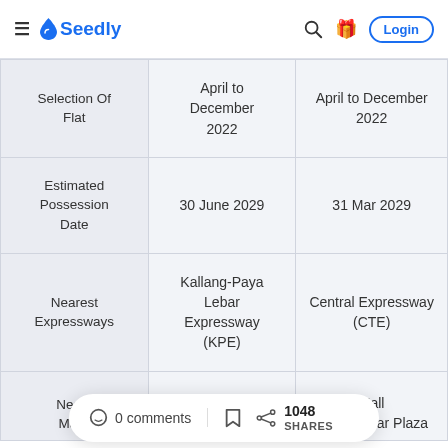Seedly — Login
|  | April to December 2022 | April to December 2022 |
| --- | --- | --- |
| Selection Of Flat | April to December 2022 | April to December 2022 |
| Estimated Possession Date | 30 June 2029 | 31 Mar 2029 |
| Nearest Expressways | Kallang-Paya Lebar Expressway (KPE) | Central Expressway (CTE) |
| Nearest Malls | City Plaza | Jalan Besar Plaza |
0 comments  1048 SHARES